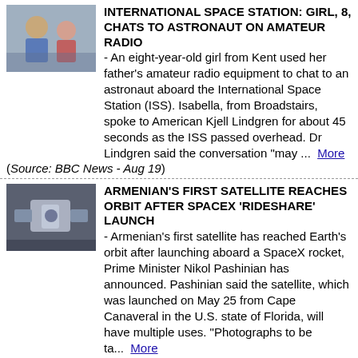[Figure (photo): Photo of a man and a girl smiling, appears to be in a radio or studio setting]
INTERNATIONAL SPACE STATION: GIRL, 8, CHATS TO ASTRONAUT ON AMATEUR RADIO
- An eight-year-old girl from Kent used her father's amateur radio equipment to chat to an astronaut aboard the International Space Station (ISS). Isabella, from Broadstairs, spoke to American Kjell Lindgren for about 45 seconds as the ISS passed overhead. Dr Lindgren said the conversation "may ...  More
(Source: BBC News - Aug 19)
[Figure (photo): Photo of a small satellite or spacecraft component, metallic, in a lab setting]
ARMENIAN'S FIRST SATELLITE REACHES ORBIT AFTER SPACEX 'RIDESHARE' LAUNCH
- Armenian's first satellite has reached Earth's orbit after launching aboard a SpaceX rocket, Prime Minister Nikol Pashinian has announced. Pashinian said the satellite, which was launched on May 25 from Cape Canaveral in the U.S. state of Florida, will have multiple uses. "Photographs to be ta...  More
(Source: Radio Free Europe - Aug 18)
[Figure (photo): Photo showing part of the International Space Station exterior with solar panels visible against dark space]
RUSSIAN SPACEWALK CUT SHORT BY SPACESUIT POWER SYSTEM PROBLEM
- Russian ground controllers ordered International Space Station commander Oleg Artemyev back to the airlock after data showed voltage fluctuations in his spacesuit Wednesday, cutting short a spacewalk to continue outfitting the